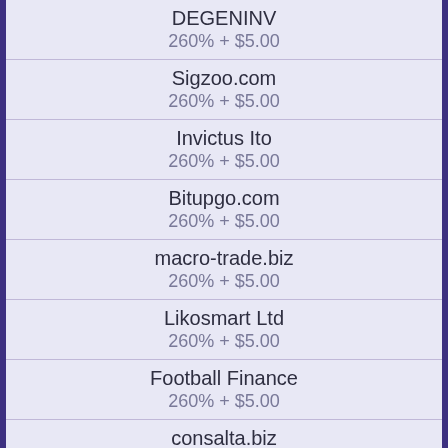DEGENINV
260% + $5.00
Sigzoo.com
260% + $5.00
Invictus Ito
260% + $5.00
Bitupgo.com
260% + $5.00
macro-trade.biz
260% + $5.00
Likosmart Ltd
260% + $5.00
Football Finance
260% + $5.00
consalta.biz
260% + $5.00